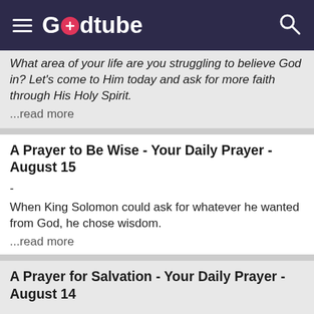Godtube
What area of your life are you struggling to believe God in? Let's come to Him today and ask for more faith through His Holy Spirit. ...read more
A Prayer to Be Wise - Your Daily Prayer - August 15
-
When King Solomon could ask for whatever he wanted from God, he chose wisdom. ...read more
A Prayer for Salvation - Your Daily Prayer - August 14
-
God is being gracious to keep the door open to eternal life in Jesus. ...read more